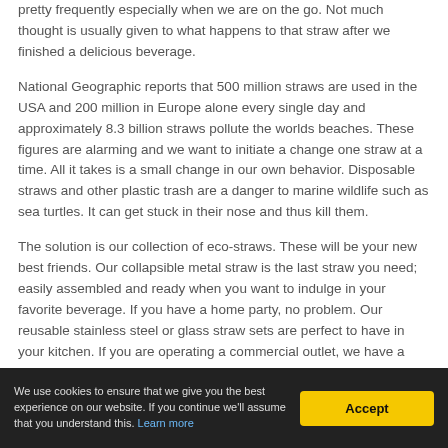pretty frequently especially when we are on the go. Not much thought is usually given to what happens to that straw after we finished a delicious beverage.
National Geographic reports that 500 million straws are used in the USA and 200 million in Europe alone every single day and approximately 8.3 billion straws pollute the worlds beaches. These figures are alarming and we want to initiate a change one straw at a time. All it takes is a small change in our own behavior. Disposable straws and other plastic trash are a danger to marine wildlife such as sea turtles. It can get stuck in their nose and thus kill them.
The solution is our collection of eco-straws. These will be your new best friends. Our collapsible metal straw is the last straw you need; easily assembled and ready when you want to indulge in your favorite beverage. If you have a home party, no problem. Our reusable stainless steel or glass straw sets are perfect to have in your kitchen. If you are operating a commercial outlet, we have a solution for you too.
We use cookies to ensure that we give you the best experience on our website. If you continue we'll assume that you understand this. Learn more